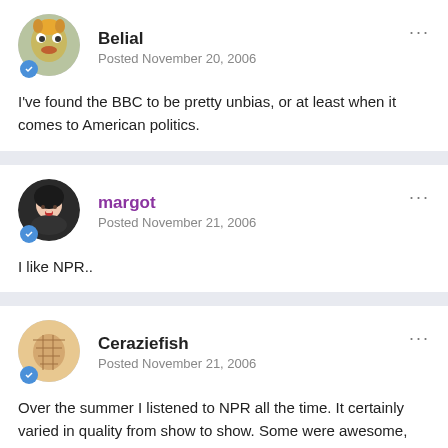Belial
Posted November 20, 2006
I've found the BBC to be pretty unbias, or at least when it comes to American politics.
margot
Posted November 21, 2006
I like NPR..
Ceraziefish
Posted November 21, 2006
Over the summer I listened to NPR all the time. It certainly varied in quality from show to show. Some were awesome, though.